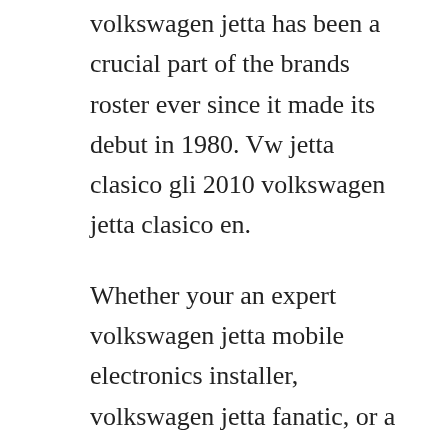volkswagen jetta has been a crucial part of the brands roster ever since it made its debut in 1980. Vw jetta clasico gli 2010 volkswagen jetta clasico en.
Whether your an expert volkswagen jetta mobile electronics installer, volkswagen jetta fanatic, or a novice volkswagen jetta enthusiast with a 2010 volkswagen jetta, a car stereo wiring diagram can save yourself a lot of time. Whether you have lost your owners manual for vw jetta 2010, or you are doing research on a car you want to buy. The jettas